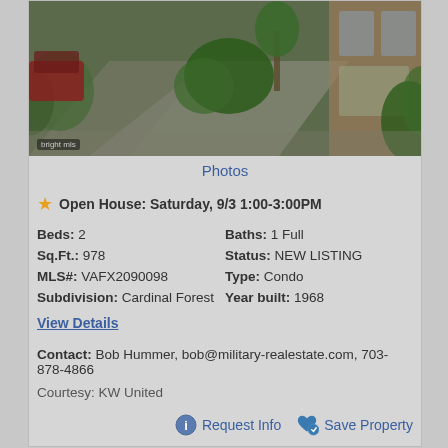[Figure (photo): Exterior street-view photo of a residential property with driveway, landscaping shrubs, and brick building facade. Bright MLS watermark in bottom left.]
Photos
Open House:  Saturday, 9/3 1:00-3:00PM
| Beds: 2 | Baths: 1 Full |
| Sq.Ft.: 978 | Status: NEW LISTING |
| MLS#: VAFX2090098 | Type: Condo |
| Subdivision: Cardinal Forest | Year built: 1968 |
View Details
Contact: Bob Hummer, bob@military-realestate.com, 703-878-4866
Courtesy: KW United
Request Info   Save Property